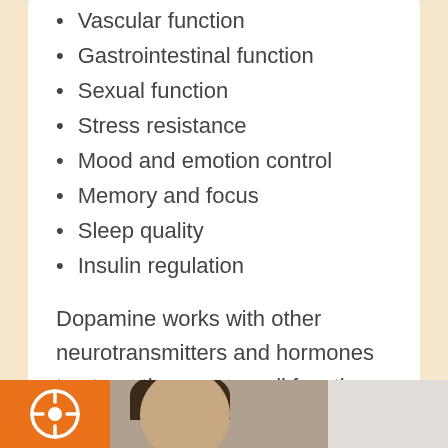Vascular function
Gastrointestinal function
Sexual function
Stress resistance
Mood and emotion control
Memory and focus
Sleep quality
Insulin regulation
Dopamine works with other neurotransmitters and hormones to strengthen organ cell functions. When someone lacks a sufficient amount of dopamine, he or she is subject to various physical or psychological symptoms, something that shouldn't be ignored.
[Figure (photo): Bottom image bar with orange HubSpot-style logo icon on left, person's face in center, blurred office background on right]